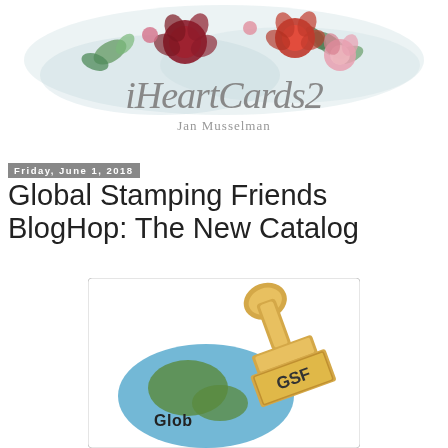[Figure (illustration): iHeartCards2 blog header with floral watercolor arrangement and cursive logo text 'iHeartCards2' with 'Jan Musselman' subtitle]
Friday, June 1, 2018
Global Stamping Friends BlogHop: The New Catalog
[Figure (illustration): Global Stamping Friends logo: a rubber stamp with 'GSF' text stamping on a blue globe, with 'Glob' text visible, set on white background with light border]